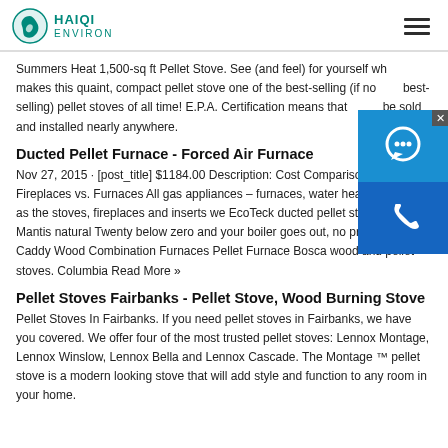HAIQI ENVIRON
Summers Heat 1,500-sq ft Pellet Stove. See (and feel) for yourself what makes this quaint, compact pellet stove one of the best-selling (if not the best-selling) pellet stoves of all time! E.P.A. Certification means that it can be sold and installed nearly anywhere.
Ducted Pellet Furnace - Forced Air Furnace
Nov 27, 2015 · [post_title] $1184.00 Description: Cost Comparison: Gas Fireplaces vs. Furnaces All gas appliances – furnaces, water heaters, as well as the stoves, fireplaces and inserts we EcoTeck ducted pellet stove, Empire Mantis natural Twenty below zero and your boiler goes out, no problem. PSG Caddy Wood Combination Furnaces Pellet Furnace Bosca wood and pellet stoves. Columbia Read More »
Pellet Stoves Fairbanks - Pellet Stove, Wood Burning Stove
Pellet Stoves In Fairbanks. If you need pellet stoves in Fairbanks, we have you covered. We offer four of the most trusted pellet stoves: Lennox Montage, Lennox Winslow, Lennox Bella and Lennox Cascade. The Montage ™ pellet stove is a modern looking stove that will add style and function to any room in your home.